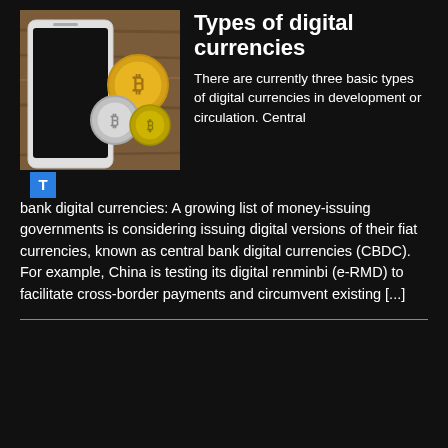[Figure (photo): A smartphone lying flat on a wooden surface surrounded by several Bitcoin coins (gold and silver colored cryptocurrency coins with Bitcoin symbol).]
Types of digital currencies
There are currently three basic types of digital currencies in development or circulation. Central bank digital currencies: A growing list of money-issuing governments is considering issuing digital versions of their fiat currencies, known as central bank digital currencies (CBDC). For example, China is testing its digital renminbi (e-RMD) to facilitate cross-border payments and circumvent existing [...]